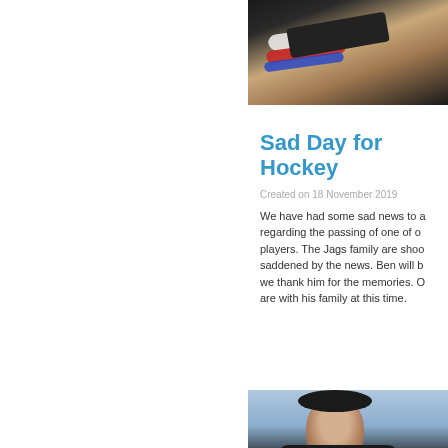[Figure (photo): Close-up photo of a person's arm wearing multiple wristbands/bracelets including white, red, and blue ones, over a dark shirt]
Sad Day for Hockey
Created on 18 November 2019
We have had some sad news to a regarding the passing of one of o players. The Jags family are shoo saddened by the news. Ben will b we thank him for the memories. O are with his family at this time.
[Figure (photo): Photo of a hockey player in a black and yellow jersey wearing a helmet, on the ice]